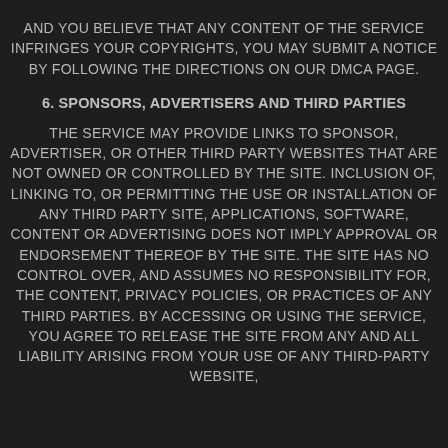AND YOU BELIEVE THAT ANY CONTENT OF THE SERVICE INFRINGES YOUR COPYRIGHTS, YOU MAY SUBMIT A NOTICE BY FOLLOWING THE DIRECTIONS ON OUR DMCA PAGE.
6. SPONSORS, ADVERTISERS AND THIRD PARTIES
THE SERVICE MAY PROVIDE LINKS TO SPONSOR, ADVERTISER, OR OTHER THIRD PARTY WEBSITES THAT ARE NOT OWNED OR CONTROLLED BY THE SITE. INCLUSION OF, LINKING TO, OR PERMITTING THE USE OR INSTALLATION OF ANY THIRD PARTY SITE, APPLICATIONS, SOFTWARE, CONTENT OR ADVERTISING DOES NOT IMPLY APPROVAL OR ENDORSEMENT THEREOF BY THE SITE. THE SITE HAS NO CONTROL OVER, AND ASSUMES NO RESPONSIBILITY FOR, THE CONTENT, PRIVACY POLICIES, OR PRACTICES OF ANY THIRD PARTIES. BY ACCESSING OR USING THE SERVICE, YOU AGREE TO RELEASE THE SITE FROM ANY AND ALL LIABILITY ARISING FROM YOUR USE OF ANY THIRD-PARTY WEBSITE,